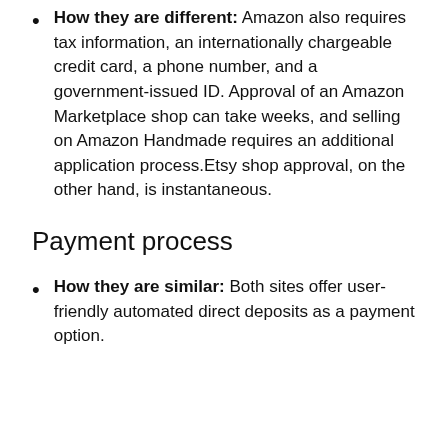How they are different: Amazon also requires tax information, an internationally chargeable credit card, a phone number, and a government-issued ID. Approval of an Amazon Marketplace shop can take weeks, and selling on Amazon Handmade requires an additional application process.Etsy shop approval, on the other hand, is instantaneous.
Payment process
How they are similar: Both sites offer user-friendly automated direct deposits as a payment option.